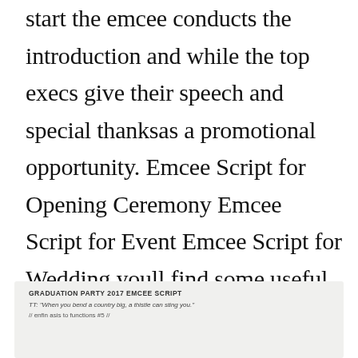start the emcee conducts the introduction and while the top execs give their speech and special thanksas a promotional opportunity. Emcee Script for Opening Ceremony Emcee Script for Event Emcee Script for Wedding youll find some useful bits here. Hopefully the content of the post Article cutting Article ribbon Article wallpaper we write this you can understand and as you.
[Figure (screenshot): A screenshot or image excerpt showing text from a document titled 'GRADUATION PARTY 2017 EMCEE SCRIPT' with sample script lines.]